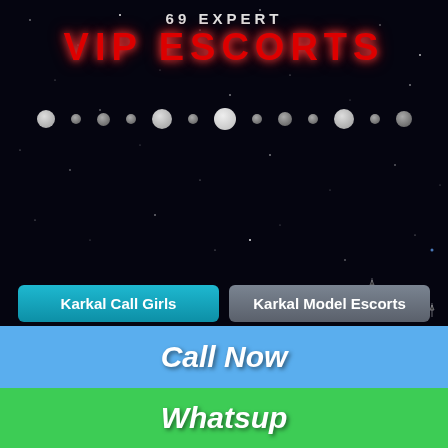69 EXPERT VIP ESCORTS
Karkal Call Girls
Karkal Model Escorts
Karkal Housewife Escorts
Karkal Air-Hostess Escorts
Karkal Celebrity Escorts
Karkal Teen Escorts
Karkal Punjabi Escorts
Karkal VIP Escorts
Karkal High Profile Escorts
Karkal South Indian Escorts
Call Now
Whatsup